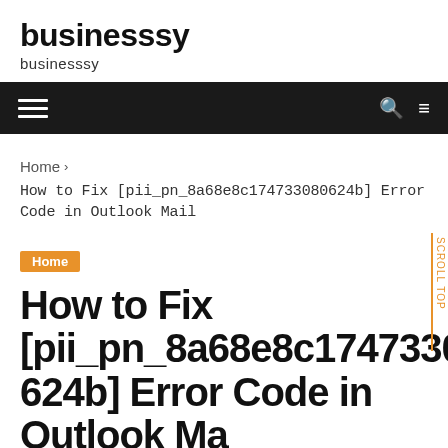businesssy
businesssy
[Figure (other): Navigation bar with hamburger menu icon on the left and search and menu icons on the right, dark background]
Home › How to Fix [pii_pn_8a68e8c174733080624b] Error Code in Outlook Mail
Home
How to Fix [pii_pn_8a68e8c174733080624b] Error Code in Outlook Mail